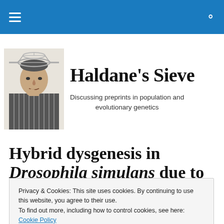Haldane's Sieve — Discussing preprints in population and evolutionary genetics
[Figure (photo): Black and white portrait photo of a man with a metallic sieve-like object on his head, sitting in a thoughtful pose wearing a striped jacket — the Haldane's Sieve blog logo]
Haldane's Sieve
Discussing preprints in population and evolutionary genetics
Hybrid dysgenesis in Drosophila simulans due to a
Privacy & Cookies: This site uses cookies. By continuing to use this website, you agree to their use.
To find out more, including how to control cookies, see here: Cookie Policy
Close and accept
Hybrid dysgenesis in Drosophila simulans due to a rapid